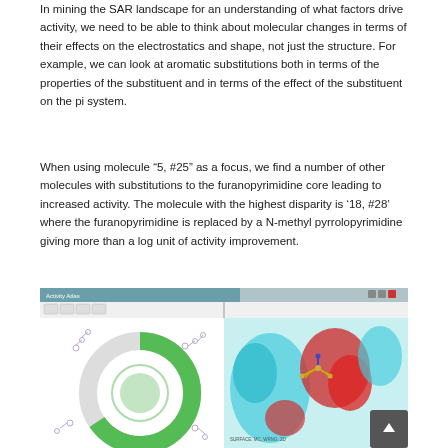In mining the SAR landscape for an understanding of what factors drive activity, we need to be able to think about molecular changes in terms of their effects on the electrostatics and shape, not just the structure. For example, we can look at aromatic substitutions both in terms of the properties of the substituent and in terms of the effect of the substituent on the pi system.
When using molecule "5, #25" as a focus, we find a number of other molecules with substitutions to the furanopyrimidine core leading to increased activity. The molecule with the highest disparity is '18, #28' where the furanopyrimidine is replaced by a N-methyl pyrrolopyrimidine giving more than a log unit of activity improvement.
[Figure (screenshot): Screenshot of Activity Atlas software showing two panels: left panel displays a circular SAR map with molecular structures arranged around a green ring; right panel shows a 3D molecular visualization with red and cyan electrostatic surface maps around a molecular structure.]